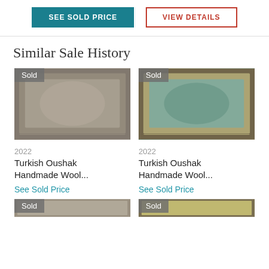SEE SOLD PRICE
VIEW DETAILS
Similar Sale History
[Figure (photo): Photo of a Turkish Oushak handmade wool rug on dark hardwood floor, with 'Sold' badge in top-left corner. Year: 2022.]
[Figure (photo): Photo of a Turkish Oushak handmade wool rug (light teal/beige) on dark hardwood floor, with 'Sold' badge in top-left corner. Year: 2022.]
2022
Turkish Oushak Handmade Wool...
See Sold Price
2022
Turkish Oushak Handmade Wool...
See Sold Price